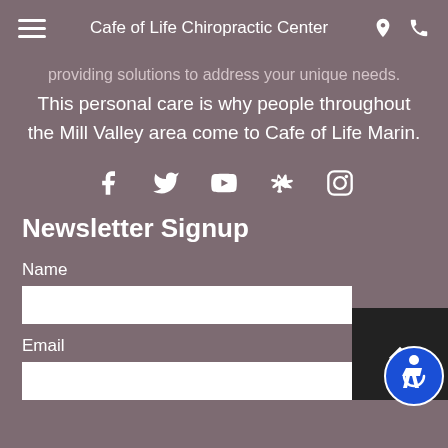Cafe of Life Chiropractic Center
providing solutions to address your unique needs. This personal care is why people throughout the Mill Valley area come to Cafe of Life Marin.
[Figure (infographic): Social media icons: Facebook, Twitter, YouTube, Yelp, Instagram]
Newsletter Signup
Name
Email